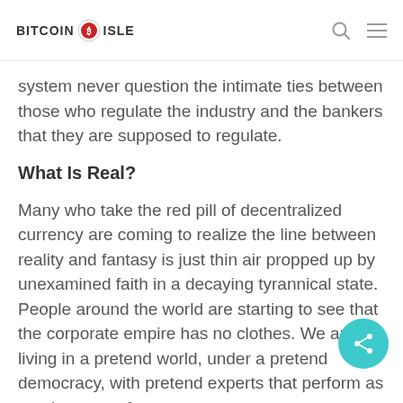BITCOIN ISLE
system never question the intimate ties between those who regulate the industry and the bankers that they are supposed to regulate.
What Is Real?
Many who take the red pill of decentralized currency are coming to realize the line between reality and fantasy is just thin air propped up by unexamined faith in a decaying tyrannical state. People around the world are starting to see that the corporate empire has no clothes. We are living in a pretend world, under a pretend democracy, with pretend experts that perform as gatekeepers of